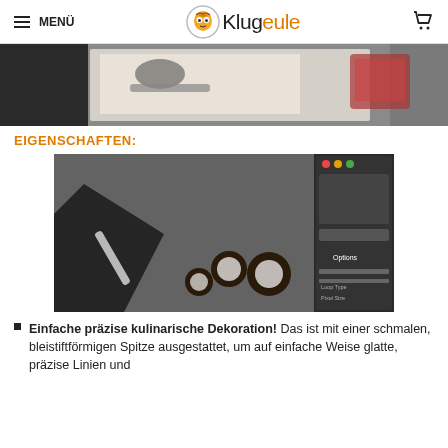MENÜ | Klugeule | [cart]
[Figure (photo): Hands decorating a white plate with a tool, red food coloring container on dark background]
EIGENSCHAFTEN:
[Figure (photo): Hand using a precision decorating tool on a dark slate surface with small chocolate coin decorations, with a video software options panel visible on right side]
Einfache präzise kulinarische Dekoration! Das ist mit einer schmalen, bleistiftförmigen Spitze ausgestattet, um auf einfache Weise glatte, präzise Linien und